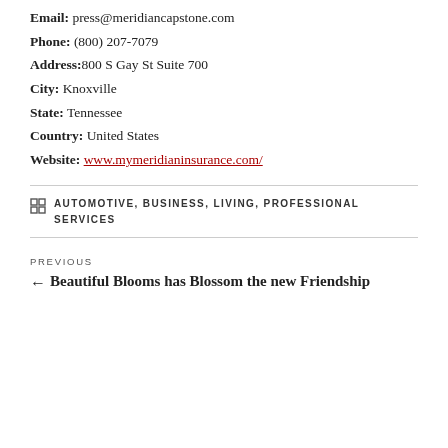Email: press@meridiancapstone.com
Phone: (800) 207-7079
Address: 800 S Gay St Suite 700
City: Knoxville
State: Tennessee
Country: United States
Website: www.mymeridianinsurance.com/
AUTOMOTIVE, BUSINESS, LIVING, PROFESSIONAL SERVICES
PREVIOUS
Beautiful Blooms has Blossom the new Friendship